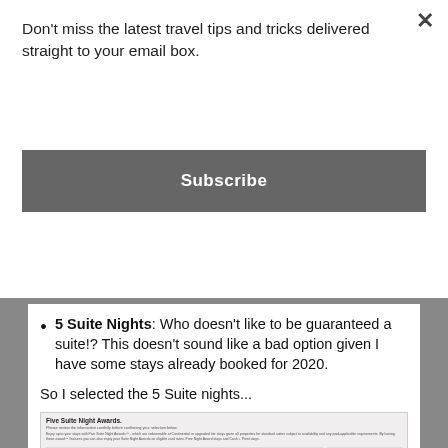Don't miss the latest travel tips and tricks delivered straight to your email box.
Subscribe
5 Suite Nights: Who doesn't like to be guaranteed a suite!? This doesn't sound like a bad option given I have some stays already booked for 2020.
So I selected the 5 Suite nights...
[Figure (screenshot): Screenshot of Five Suite Night Awards selection page with instructions and a Step 1 of 3 form panel on the right side.]